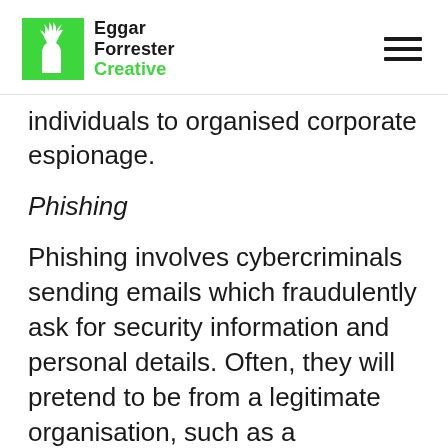Eggar Forrester Creative
individuals to organised corporate espionage.
Phishing
Phishing involves cybercriminals sending emails which fraudulently ask for security information and personal details. Often, they will pretend to be from a legitimate organisation, such as a